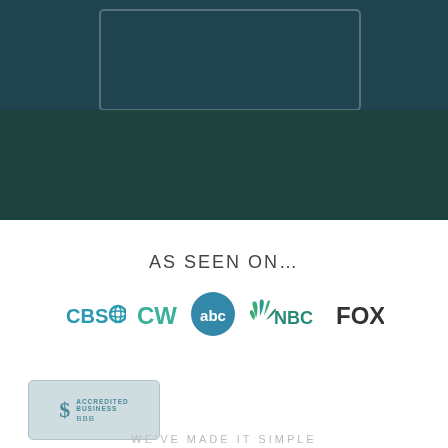[Figure (photo): Background photo of a house with greenery and lawn, overlaid with dark teal/blue color tint]
We buy houses in Northeast Florida in Any Condition. No Hassle. No Fees. Just Fair.
AS SEEN ON…
[Figure (logo): Media logos: CBS, CW, abc, NBC, FOX]
[Figure (logo): BBB Accredited Business badge]
WE'VE MADE IT SIMPLE